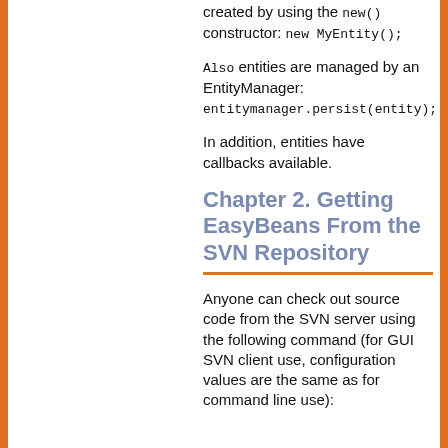created by using the new() constructor: new MyEntity();
Also entities are managed by an EntityManager: entitymanager.persist(entity);
In addition, entities have callbacks available.
Chapter 2. Getting EasyBeans From the SVN Repository
Anyone can check out source code from the SVN server using the following command (for GUI SVN client use, configuration values are the same as for command line use):